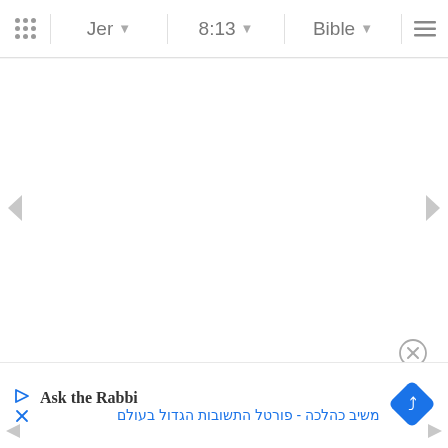Jer  8:13  Bible
[Figure (screenshot): Bible app navigation bar with grid icon, book selector showing 'Jer', chapter:verse showing '8:13', version showing 'Bible', and hamburger menu]
[Figure (infographic): Main white content area of Bible app, mostly blank, with left and right navigation chevron arrows on the sides]
[Figure (infographic): Close button (circled X) above bottom ad panel]
[Figure (infographic): Ad panel at the bottom showing 'Ask the Rabbi' with Hebrew subtitle text and a blue diamond navigation icon]